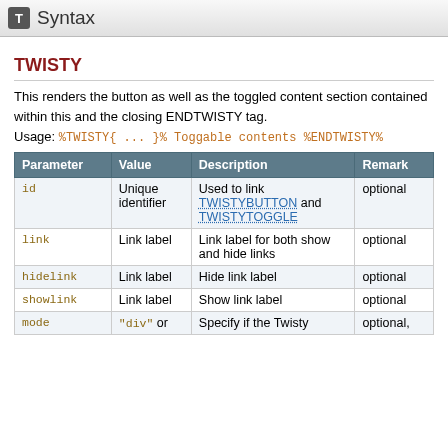T  Syntax
TWISTY
This renders the button as well as the toggled content section contained within this and the closing ENDTWISTY tag.
Usage: %TWISTY{ ... }% Toggable contents %ENDTWISTY%
| Parameter | Value | Description | Remark |
| --- | --- | --- | --- |
| id | Unique identifier | Used to link TWISTYBUTTON and TWISTYTOGGLE | optional |
| link | Link label | Link label for both show and hide links | optional |
| hidelink | Link label | Hide link label | optional |
| showlink | Link label | Show link label | optional |
| mode | "div" or | Specify if the Twisty | optional, |